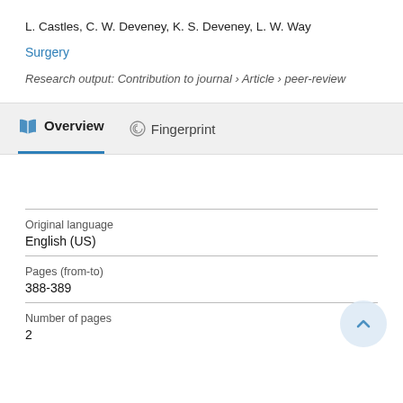L. Castles, C. W. Deveney, K. S. Deveney, L. W. Way
Surgery
Research output: Contribution to journal › Article › peer-review
Overview  Fingerprint
| Field | Value |
| --- | --- |
| Original language | English (US) |
| Pages (from-to) | 388-389 |
| Number of pages | 2 |